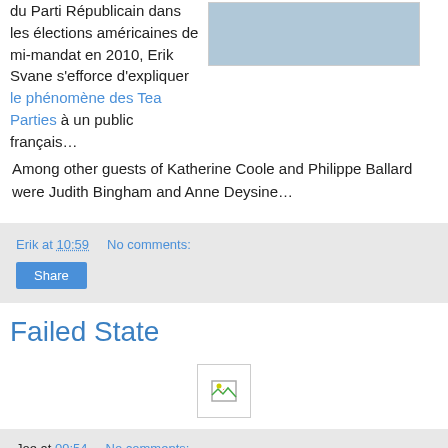du Parti Républicain dans les élections américaines de mi-mandat en 2010, Erik Svane s'efforce d'expliquer le phénomène des Tea Parties à un public français…
[Figure (photo): Photo of people at a table, appears to be a panel discussion or press conference]
Among other guests of Katherine Coole and Philippe Ballard were Judith Bingham and Anne Deysine…
Erik at 10:59   No comments:
Share
Failed State
[Figure (photo): Broken image placeholder]
Joe at 09:54   No comments:
Share